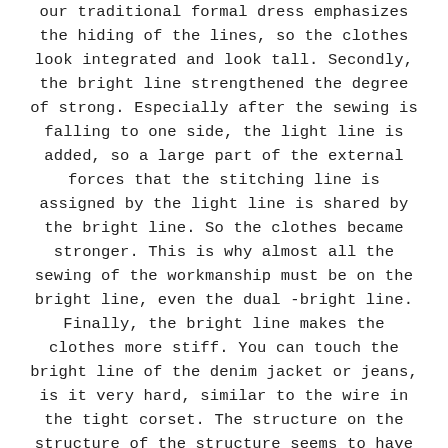our traditional formal dress emphasizes the hiding of the lines, so the clothes look integrated and look tall. Secondly, the bright line strengthened the degree of strong. Especially after the sewing is falling to one side, the light line is added, so a large part of the external forces that the stitching line is assigned by the light line is shared by the bright line. So the clothes became stronger. This is why almost all the sewing of the workmanship must be on the bright line, even the dual -bright line. Finally, the bright line makes the clothes more stiff. You can touch the bright line of the denim jacket or jeans, is it very hard, similar to the wire in the tight corset. The structure on the structure of the structure seems to have a shelf supporting the whole clothes. Let me talk about my appropriate